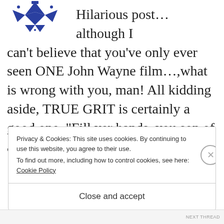[Figure (logo): Blue geometric/diamond-shaped logo resembling a stylized bird or crest in dark blue]
Hilarious post...although I can't believe that you've only ever seen ONE John Wayne film...,what is wrong with you, man! All kidding aside, TRUE GRIT is certainly a good one. “Fill yer hands, you son of a bitch!” – a line for the ages.
Privacy & Cookies: This site uses cookies. By continuing to use this website, you agree to their use.
To find out more, including how to control cookies, see here:
Cookie Policy
Close and accept